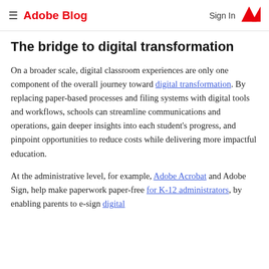Adobe Blog  Sign In
The bridge to digital transformation
On a broader scale, digital classroom experiences are only one component of the overall journey toward digital transformation. By replacing paper-based processes and filing systems with digital tools and workflows, schools can streamline communications and operations, gain deeper insights into each student's progress, and pinpoint opportunities to reduce costs while delivering more impactful education.
At the administrative level, for example, Adobe Acrobat and Adobe Sign, help make paperwork paper-free for K-12 administrators, by enabling parents to e-sign digital